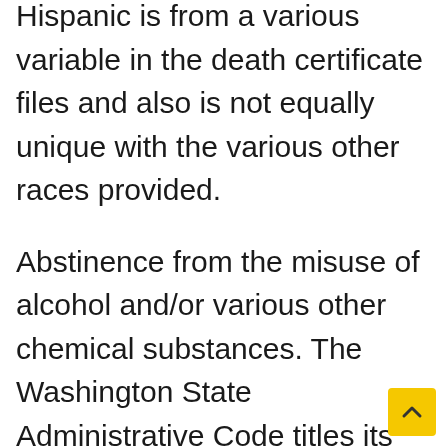Hispanic is from a various variable in the death certificate files and also is not equally unique with the various other races provided.
Abstinence from the misuse of alcohol and/or various other chemical substances. The Washington State Administrative Code titles its second component of therapist qualification as «experience». The experience requires persons to work under the supervision of a Material Use...